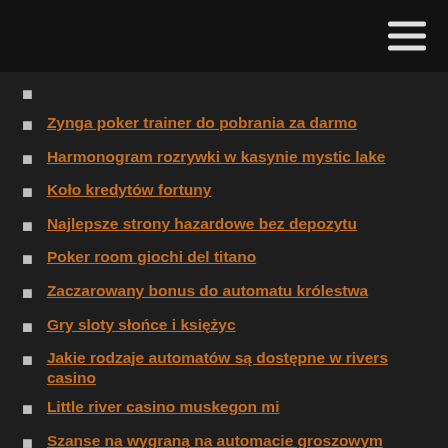Zynga poker trainer do pobrania za darmo
Harmonogram rozrywki w kasynie mystic lake
Koło kredytów fortuny
Najlepsze strony hazardowe bez depozytu
Poker room giochi del titano
Zaczarowany bonus do automatu królestwa
Gry sloty słońce i księżyc
Jakie rodzaje automatów są dostępne w rivers casino
Little river casino muskegon mi
Szanse na wygraną na automacie groszowym
Jak wygrać automaty 2021
Zakład poker online nie będzie aktualizowany